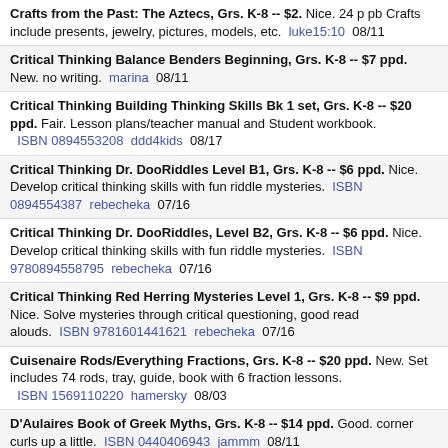Crafts from the Past: The Aztecs, Grs. K-8 -- $2. Nice. 24 p pb Crafts include presents, jewelry, pictures, models, etc.  luke15:10  08/11
Critical Thinking Balance Benders Beginning, Grs. K-8 -- $7 ppd. New. no writing.  marina  08/11
Critical Thinking Building Thinking Skills Bk 1 set, Grs. K-8 -- $20 ppd. Fair. Lesson plans/teacher manual and Student workbook.  ISBN 0894553208  ddd4kids  08/17
Critical Thinking Dr. DooRiddles Level B1, Grs. K-8 -- $6 ppd. Nice. Develop critical thinking skills with fun riddle mysteries.  ISBN 0894554387  rebecheka  07/16
Critical Thinking Dr. DooRiddles, Level B2, Grs. K-8 -- $6 ppd. Nice. Develop critical thinking skills with fun riddle mysteries.  ISBN 9780894558795  rebecheka  07/16
Critical Thinking Red Herring Mysteries Level 1, Grs. K-8 -- $9 ppd. Nice. Solve mysteries through critical questioning, good read alouds.  ISBN 9781601441621  rebecheka  07/16
Cuisenaire Rods/Everything Fractions, Grs. K-8 -- $20 ppd. New. Set includes 74 rods, tray, guide, book with 6 fraction lessons.  ISBN 1569110220  hamersky  08/03
D'Aulaires Book of Greek Myths, Grs. K-8 -- $14 ppd. Good. corner curls up a little.  ISBN 0440406943  jammm  08/11
D'Aulaires' Book of Greek Myths, Grs. K-8 -- $14 ppd. New. ISBN 0440406943  ayang  08/19
Daily Devos for Girls Who LOVE Pets, Grs. K-8 --